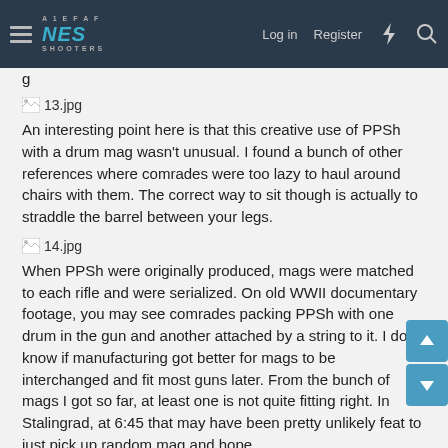NES Shooters — Log in | Register
g
[Figure (photo): Broken image placeholder labeled 13.jpg]
An interesting point here is that this creative use of PPSh with a drum mag wasn't unusual. I found a bunch of other references where comrades were too lazy to haul around chairs with them. The correct way to sit though is actually to straddle the barrel between your legs.
[Figure (photo): Broken image placeholder labeled 14.jpg]
When PPSh were originally produced, mags were matched to each rifle and were serialized. On old WWII documentary footage, you may see comrades packing PPSh with one drum in the gun and another attached by a string to it. I don't know if manufacturing got better for mags to be interchanged and fit most guns later. From the bunch of mags I got so far, at least one is not quite fitting right. In Stalingrad, at 6:45 that may have been pretty unlikely feat to just pick up random mag and hope